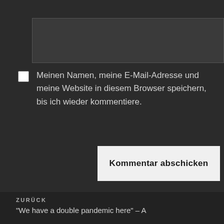[Figure (other): Text input field (comment box), dark background]
Meinen Namen, meine E-Mail-Adresse und meine Website in diesem Browser speichern, bis ich wieder kommentiere.
Kommentar abschicken
Diese Website verwendet Akismet, um Spam zu reduzieren. Erfahre mehr darüber, wie deine Kommentardaten verarbeitet werden.
ZURÜCK
"We have a double pandemic here" – A